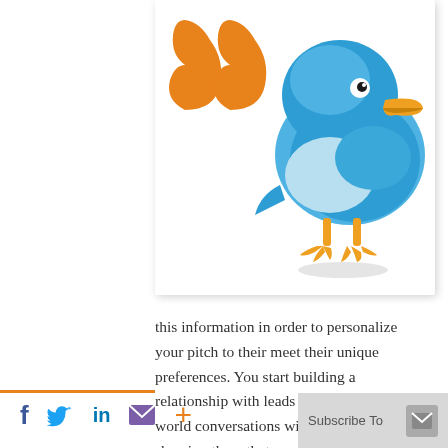[Figure (illustration): Illustration of a Twitter bird (blue cartoon bird with orange beak and feet) alongside large orange quotation marks, on a white card background with drop shadow.]
this information in order to personalize your pitch to their meet their unique preferences. You start building a relationship with leads by having real-world conversations with them and showing them that you care.
[Figure (infographic): Social media sharing footer bar with icons: Facebook (f), Twitter bird, LinkedIn (in), envelope/mail, plus sign, and a Subscribe To button with envelope icon on grey background.]